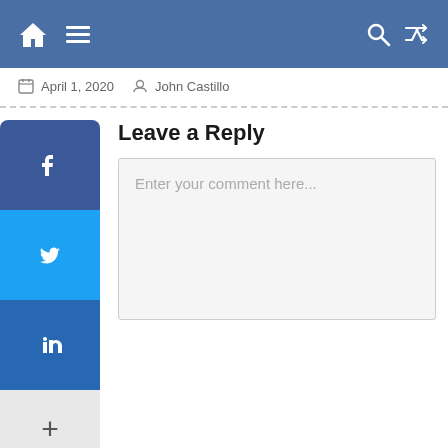Navigation bar with home, menu, search, and shuffle icons
April 1, 2020   John Castillo
[Figure (screenshot): Social media share sidebar with Facebook, Twitter, LinkedIn, and more (+) buttons]
Leave a Reply
Enter your comment here...
LATEST NEWS
[Figure (photo): Thumbnail image with blue/purple and red tones]
New Defibrillator Satisfies Safety, Effectiveness, Gender, Race...